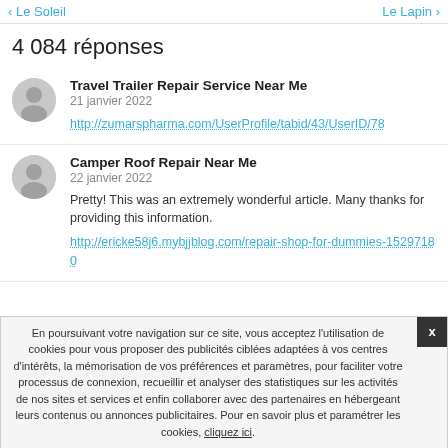< Le Soleil   Le Lapin >
4 084 réponses
Travel Trailer Repair Service Near Me
21 janvier 2022
http://zumarspharma.com/UserProfile/tabid/43/UserID/78
Camper Roof Repair Near Me
22 janvier 2022
Pretty! This was an extremely wonderful article. Many thanks for providing this information.
http://ericke58j6.mybjjblog.com/repair-shop-for-dummies-15297180
En poursuivant votre navigation sur ce site, vous acceptez l'utilisation de cookies pour vous proposer des publicités ciblées adaptées à vos centres d'intérêts, la mémorisation de vos préférences et paramètres, pour faciliter votre processus de connexion, recueillir et analyser des statistiques sur les activités de nos sites et services et enfin collaborer avec des partenaires en hébergeant leurs contenus ou annonces publicitaires. Pour en savoir plus et paramétrer les cookies, cliquez ici.